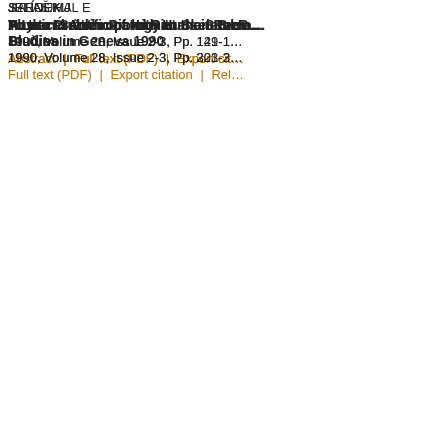JELÍNEK J
A Late Únětice Pit with Human Rema…
1990, Volume 28, Issue 2-3, Pp. 149-1…
Abstract | Full text (PDF) | Export cit…
JELÍNEK J
Human Sacrifice and Rituals in Bron…
1990, Volume 28, Issue 2-3, Pp. 121-1…
Abstract | Full text (PDF) | Export cit…
SALAŠ M
To the Problem of Human Skeletal R… Blučina
1990, Volume 28, Issue 2-3, Pp. 221-2…
Full text (PDF) | Export citation | Rel…
STROUHAL E
Physical Anthropology at the Seven… Studies in Geneva 1990
1990, Volume 28, Issue 2-3, Pp. 303-3…